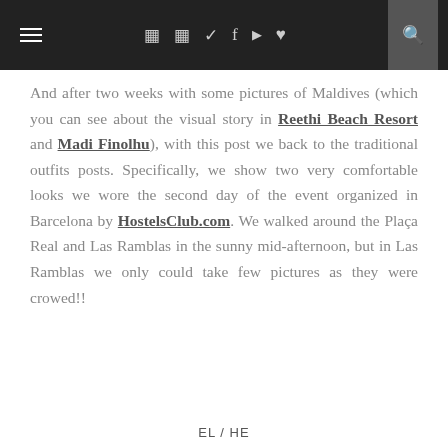Navigation bar with hamburger menu, social icons, and search icon
And after two weeks with some pictures of Maldives (which you can see about the visual story in Reethi Beach Resort and Madi Finolhu), with this post we back to the traditional outfits posts. Specifically, we show two very comfortable looks we wore the second day of the event organized in Barcelona by HostelsClub.com. We walked around the Plaça Real and Las Ramblas in the sunny mid-afternoon, but in Las Ramblas we only could take few pictures as they were crowed!!
EL / HE